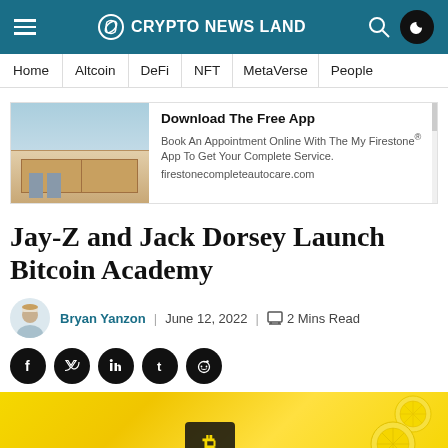CRYPTO NEWS LAND
Home | Altcoin | DeFi | NFT | MetaVerse | People
[Figure (screenshot): Advertisement for Firestone Complete Auto Care app showing a store building]
Download The Free App
Book An Appointment Online With The My Firestone® App To Get Your Complete Service.
firestonecompleteautocare.com
Jay-Z and Jack Dorsey Launch Bitcoin Academy
Bryan Yanzon | June 12, 2022 | 2 Mins Read
[Figure (illustration): Yellow background article hero image with bitcoin coin and lemon motifs]